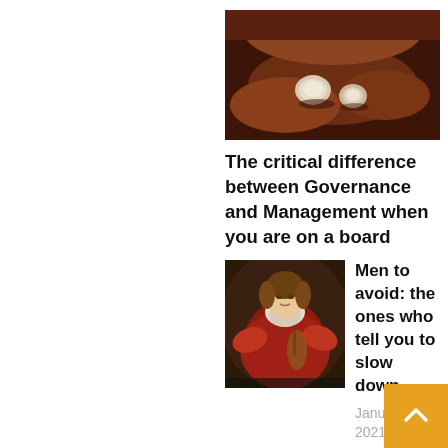[Figure (photo): Photo of two white round objects (possibly stones or shells) on dark reddish-brown soil or surface]
The critical difference between Governance and Management when you are on a board
January 27, 2021
[Figure (photo): Classical painting of a woman in red dress playing a lute or similar instrument, dark background]
Men to avoid: the ones who tell you to slow down
January 19, 2021